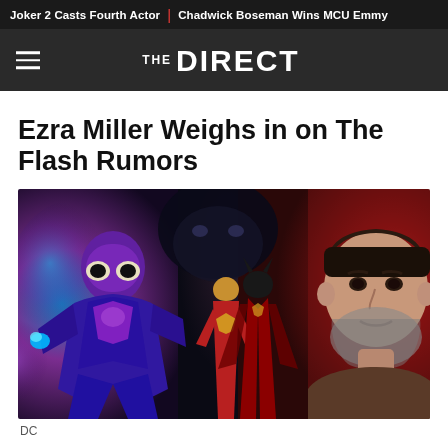Joker 2 Casts Fourth Actor | Chadwick Boseman Wins MCU Emmy
THE DIRECT
Ezra Miller Weighs in on The Flash Rumors
[Figure (photo): Composite image showing Ezra Miller as The Flash on the left in purple and blue tones, DC superhero characters (Wonder Woman and Batman) in the center with red tones, and a bearded man (director) on the right with a red/dark background.]
DC